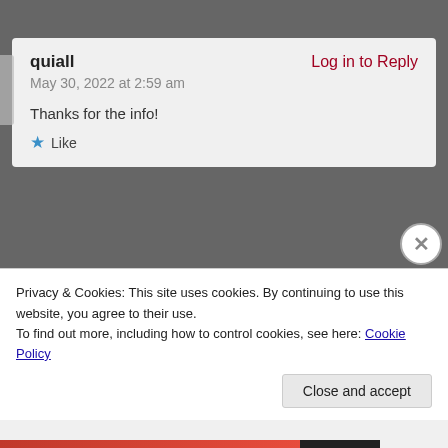quiall
Log in to Reply
May 30, 2022 at 2:59 am
Thanks for the info!
Like
jennygracespoetryandcreativewriting
Log in to Reply
May 30, 2022 at 6:00 am
Hi there, I just read your poetry book on Kindle and it
Privacy & Cookies: This site uses cookies. By continuing to use this website, you agree to their use.
To find out more, including how to control cookies, see here: Cookie Policy
Close and accept